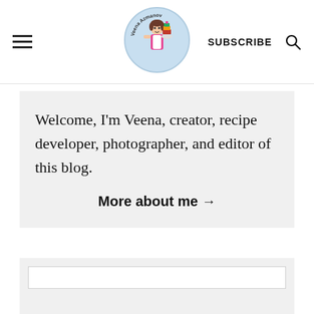SUBSCRIBE
[Figure (logo): Circular logo for 'Veena Azmanov' blog featuring a cartoon woman holding a cake, with blue background and text around the border]
Welcome, I'm Veena, creator, recipe developer, photographer, and editor of this blog.
More about me →
[Figure (screenshot): Bottom gray box with white input field outline visible at the top]